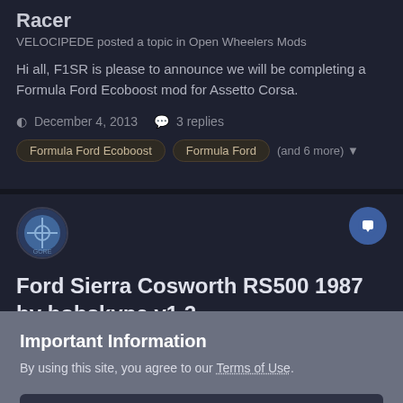Racer
VELOCIPEDE posted a topic in Open Wheelers Mods
Hi all, F1SR is please to announce we will be completing a Formula Ford Ecoboost mod for Assetto Corsa.
December 4, 2013   3 replies
Formula Ford Ecoboost
Formula Ford
(and 6 more)
Ford Sierra Cosworth RS500 1987 by bobskype v1.2
Important Information
By using this site, you agree to our Terms of Use.
✓  I accept